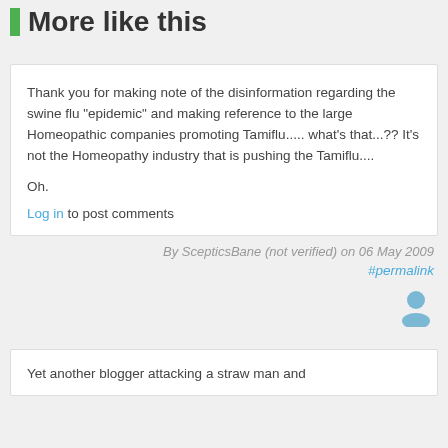More like this
Thank you for making note of the disinformation regarding the swine flu "epidemic" and making reference to the large Homeopathic companies promoting Tamiflu..... what's that...?? It's not the Homeopathy industry that is pushing the Tamiflu....
Oh.
Log in to post comments
By ScepticsBane (not verified) on 06 May 2009
#permalink
Yet another blogger attacking a straw man and